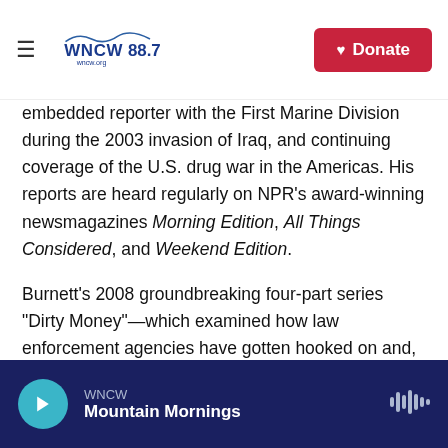WNCW 88.7 | Donate
embedded reporter with the First Marine Division during the 2003 invasion of Iraq, and continuing coverage of the U.S. drug war in the Americas. His reports are heard regularly on NPR's award-winning newsmagazines Morning Edition, All Things Considered, and Weekend Edition.
Burnett's 2008 groundbreaking four-part series "Dirty Money"—which examined how law enforcement agencies have gotten hooked on and, in some cases, corrupted by seized drug money—won three national awards: a Scripps Howard National Journalism Award for Investigative Reporting, a Sigma Delta Chi Society of Professional Journalists Award for Investigative Reporting, and an Edward R. Murrow Award for the accompanying website. His 2007 three-part series "The Forgotten War" which took
WNCW — Mountain Mornings